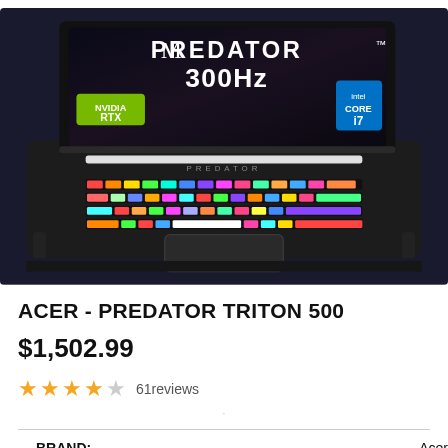[Figure (photo): Acer Predator Triton 500 gaming laptop with RGB keyboard, Predator logo on screen, NVIDIA RTX and Intel Core i7 badges, 300Hz display label]
ACER - PREDATOR TRITON 500
$1,502.99
★★★★☆ 61reviews
|  |  |
| --- | --- |
| BRAND: | Acer |
| NAME: | Acer - Predator Triton 500 |